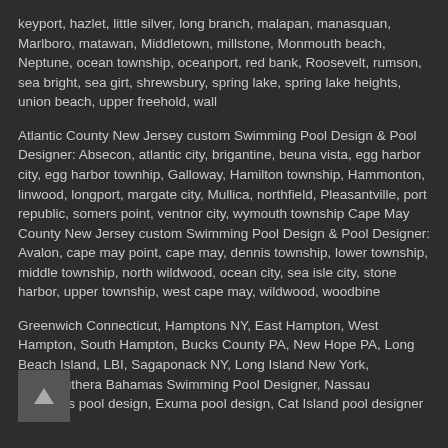keyport, hazlet, little silver, long branch, malapan, manasquan, Marlboro, matawan, Middletown, millstone, Monmouth beach, Neptune, ocean township, oceanport, red bank, Roosevelt, rumson, sea bright, sea girt, shrewsbury, spring lake, spring lake heights, union beach, upper freehold, wall
Atlantic County New Jersey custom Swimming Pool Design & Pool Designer: Absecon, atlantic city, brigantine, beuna vista, egg harbor city, egg harbor townhip, Galloway, Hamilton township, Hammonton, linwood, longport, margate city, Mullica, northfield, Pleasantville, port republic, somers point, ventnor city, wymouth township Cape May County New Jersey custom Swimming Pool Design & Pool Designer: Avalon, cape may point, cape may, dennis township, lower township, middle township, north wildwood, ocean city, sea isle city, stone harbor, upper township, west cape may, wildwood, woodbine
Greenwich Connecticut, Hamptons NY, East Hampton, West Hampton, South Hampton, Bucks County PA, New Hope PA, Long Beach Island, LBI, Sagaponack NY, Long Island New York, etc...Southera Bahamas Swimming Pool Designer, Nassau Bahamas pool design, Exuma pool design, Cat Island pool designer